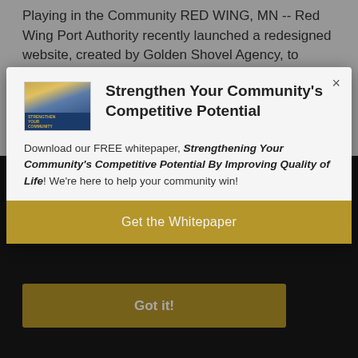Playing in the Community RED WING, MN -- Red Wing Port Authority recently launched a redesigned website, created by Golden Shovel Agency, to
[Figure (screenshot): Modal popup dialog with whitepaper promotion. Contains thumbnail image of a book cover, title 'Strengthen Your Community's Competitive Potential', body text about a free whitepaper, and a gold CTA button 'Get the Whitepaper'.]
Get the Whitepaper
Got it!